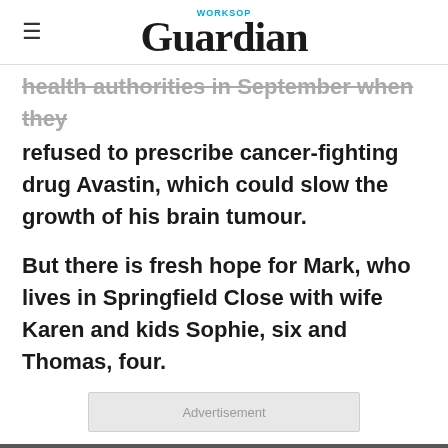Worksop Guardian
health authorities in September when they refused to prescribe cancer-fighting drug Avastin, which could slow the growth of his brain tumour.
But there is fresh hope for Mark, who lives in Springfield Close with wife Karen and kids Sophie, six and Thomas, four.
Advertisement
He has started a new course of chemotherapy treatment called PCV, and early results show the tumour has not grown.